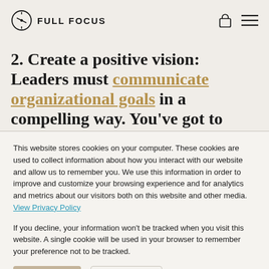FULL FOCUS
2. Create a positive vision: Leaders must communicate organizational goals in a compelling way. You've got to ensure the team sees reaching
This website stores cookies on your computer. These cookies are used to collect information about how you interact with our website and allow us to remember you. We use this information in order to improve and customize your browsing experience and for analytics and metrics about our visitors both on this website and other media. View Privacy Policy

If you decline, your information won't be tracked when you visit this website. A single cookie will be used in your browser to remember your preference not to be tracked.